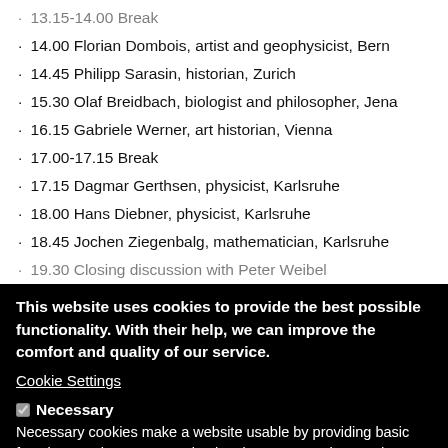13.15-14.00 Break
14.00 Florian Dombois, artist and geophysicist, Bern
14.45 Philipp Sarasin, historian, Zurich
15.30 Olaf Breidbach, biologist and philosopher, Jena
16.15 Gabriele Werner, art historian, Vienna
17.00-17.15 Break
17.15 Dagmar Gerthsen, physicist, Karlsruhe
18.00 Hans Diebner, physicist, Karlsruhe
18.45 Jochen Ziegenbalg, mathematician, Karlsruhe
19.30 Closing discussion with Peter Weibel
This website uses cookies to provide the best possible functionality. With their help, we can improve the comfort and quality of our service.
Cookie Settings
Necessary
Necessary cookies make a website usable by providing basic functions such as page navigation, language settings and access to protected areas of the website. Since the website cannot function properly without it, you cannot unsubscribe from this type of cookie.
Statistics